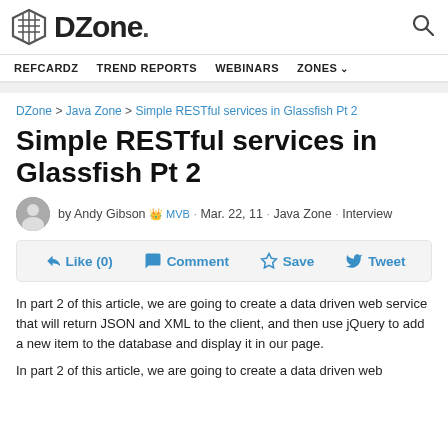DZone. [search icon]
REFCARDZ  TREND REPORTS  WEBINARS  ZONES
DZone > Java Zone > Simple RESTful services in Glassfish Pt 2
Simple RESTful services in Glassfish Pt 2
by Andy Gibson 🏅 MVB · Mar. 22, 11 · Java Zone · Interview
👍 Like (0)  💬 Comment  ☆ Save  🐦 Tweet
In part 2 of this article, we are going to create a data driven web service that will return JSON and XML to the client, and then use jQuery to add a new item to the database and display it in our page.
In part 2 of this article, we are going to create a data driven web